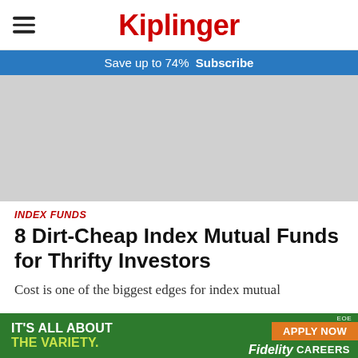Kiplinger
Save up to 74%  Subscribe
[Figure (photo): Gray placeholder image for article hero image]
INDEX FUNDS
8 Dirt-Cheap Index Mutual Funds for Thrifty Investors
Cost is one of the biggest edges for index mutual
[Figure (infographic): Fidelity Careers ad banner: IT'S ALL ABOUT THE VARIETY. APPLY NOW. EOE. Fidelity CAREERS.]